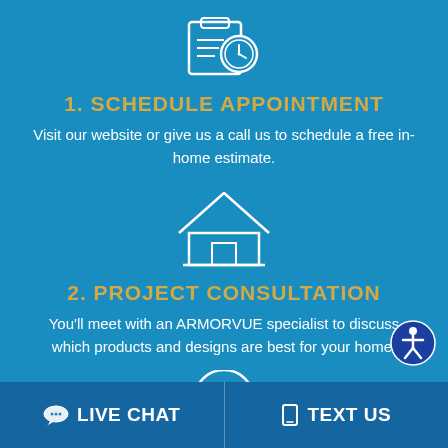[Figure (illustration): Icon of a clipboard with a clock, representing scheduling an appointment]
1. SCHEDULE APPOINTMENT
Visit our website or give us a call us to schedule a free in-home estimate.
[Figure (illustration): Icon of a house, representing a home consultation]
2. PROJECT CONSULTATION
You'll meet with an ARMORVUE specialist to discuss which products and designs are best for your home.
[Figure (illustration): Partial icon at bottom, partially visible]
[Figure (illustration): Accessibility badge icon (wheelchair symbol in circle)]
LIVE CHAT   TEXT US